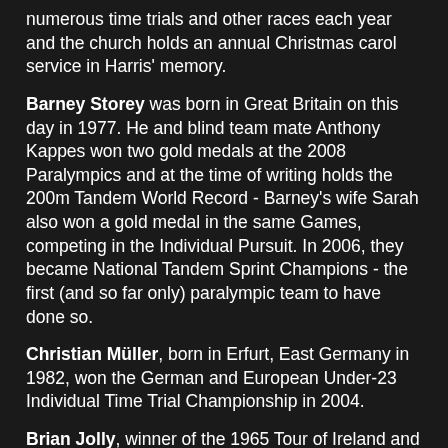numerous time trials and other races each year and the church holds an annual Christmas carol service in Harris' memory.
Barney Storey was born in Great Britain on this day in 1977. He and blind team mate Anthony Kappes won two gold medals at the 2008 Paralympics and at the time of writing holds the 200m Tandem World Record - Barney's wife Sarah also won a gold medal in the same Games, competing in the Individual Pursuit. In 2006, they became National Tandem Sprint Champions - the first (and so far only) paralympic team to have done so.
Christian Müller, born in Erfurt, East Germany in 1982, won the German and European Under-23 Individual Time Trial Championship in 2004.
Brian Jolly, winner of the 1965 Tour of Ireland and British Road Race Champion 1973, was born on this day in 1946.
On this day in 2004, the bike component manufacturer